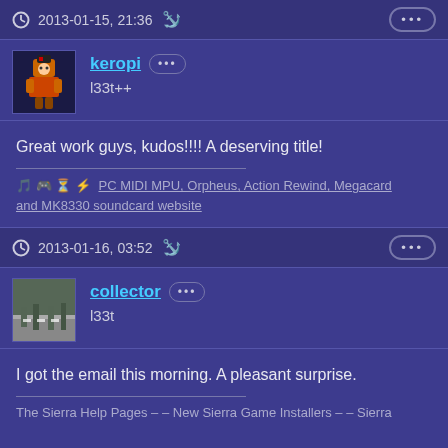2013-01-15, 21:36
keropi
l33t++
Great work guys, kudos!!!! A deserving title!
PC MIDI MPU, Orpheus, Action Rewind, Megacard and MK8330 soundcard website
2013-01-16, 03:52
collector
l33t
I got the email this morning. A pleasant surprise.
The Sierra Help Pages -- New Sierra Game Installers -- Sierra